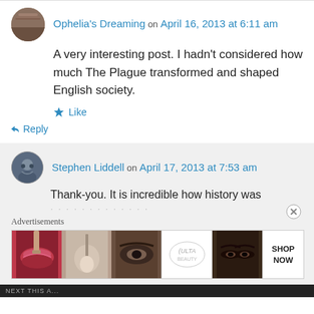Ophelia's Dreaming on April 16, 2013 at 6:11 am
A very interesting post. I hadn't considered how much The Plague transformed and shaped English society.
Like
Reply
Stephen Liddell on April 17, 2013 at 7:53 am
Thank-you. It is incredible how history was
Advertisements
[Figure (other): ULTA Beauty advertisement banner showing makeup imagery with SHOP NOW text]